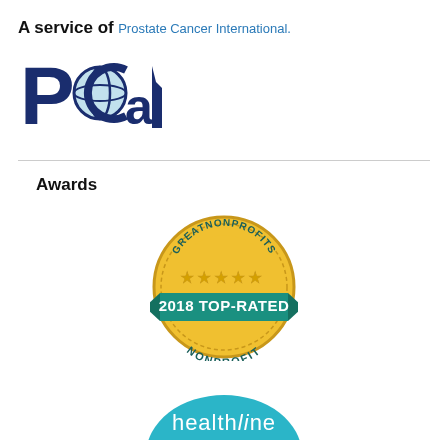A service of
Prostate Cancer International.
[Figure (logo): PCaI (Prostate Cancer International) logo — blue bold letters PCaI with a globe icon integrated into the 'C']
Awards
[Figure (logo): GreatNonprofits 2018 Top-Rated Nonprofit badge — gold coin shape with stars and teal ribbon banner]
[Figure (logo): Healthline badge — teal/blue oval shape with 'healthline' text, partially visible at bottom]